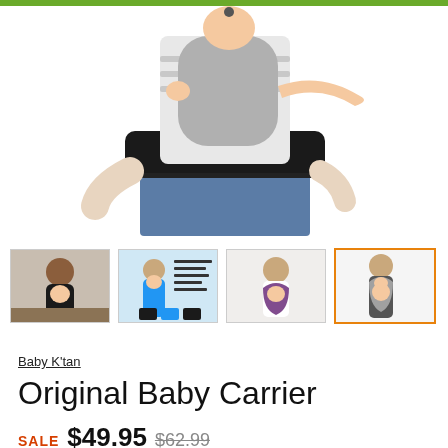[Figure (photo): Main product photo: person wearing a Baby K'tan baby carrier on their back, baby visible in a gray wrap carrier, white background]
[Figure (photo): Thumbnail 1: woman in black baby carrier holding baby in front, sitting on couch]
[Figure (photo): Thumbnail 2: man in blue baby carrier shown from behind, with product info text overlay]
[Figure (photo): Thumbnail 3: man using purple/maroon baby carrier with infant]
[Figure (photo): Thumbnail 4 (selected): woman wearing gray wrap baby carrier with baby on front, selected with orange border]
Baby K'tan
Original Baby Carrier
SALE $49.95  $62.99